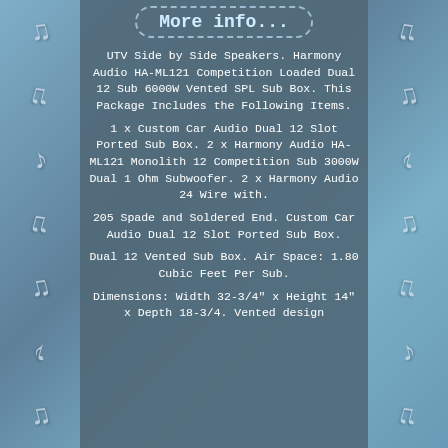More info...
UTV Side by Side Speakers. Harmony Audio HA-ML121 Competition Loaded Dual 12 Sub 6000W Vented SPL Sub Box. This Package Includes the Following Items.
1 x Custom Car Audio Dual 12 Slot Ported Sub Box. 2 x Harmony Audio HA-ML121 Monolith 12 Competition Sub 3000W Dual 1 Ohm Subwoofer. 2 x Harmony Audio 24 Wire with.
205 Spade and Soldered End. Custom Car Audio Dual 12 Slot Ported Sub Box.
Dual 12 Vented Sub Box. Air Space: 1.80 Cubic Feet Per Sub.
Dimensions: Width 32-3/4" x Height 14" x Depth 18-3/4. Vented design